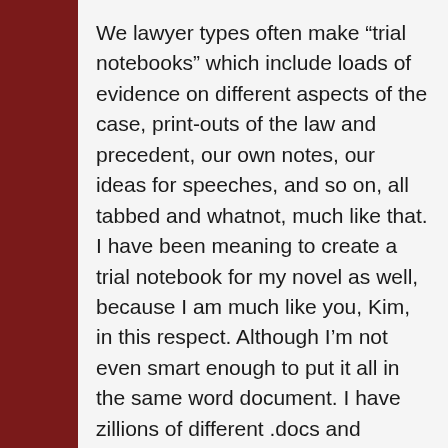We lawyer types often make “trial notebooks” which include loads of evidence on different aspects of the case, print-outs of the law and precedent, our own notes, our ideas for speeches, and so on, all tabbed and whatnot, much like that. I have been meaning to create a trial notebook for my novel as well, because I am much like you, Kim, in this respect. Although I’m not even smart enough to put it all in the same word document. I have zillions of different .docs and handwritten scraps of paper and doodles and other such things, usually mixed in with my homework or my old bills… sigh.
A